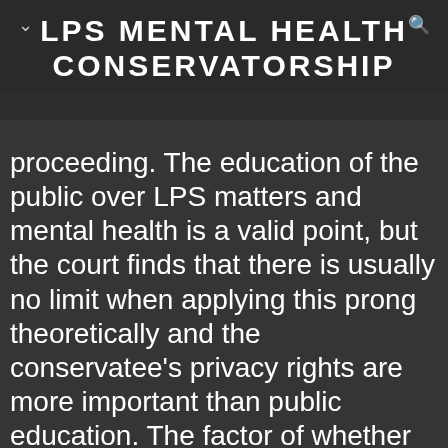LPS MENTAL HEALTH CONSERVATORSHIP
proceeding. The education of the public over LPS matters and mental health is a valid point, but the court finds that there is usually no limit when applying this prong theoretically and the conservatee's privacy rights are more important than public education. The factor of whether the community benefits from such lacks foundational support and the court dismisses it as LPS matters are not relevant